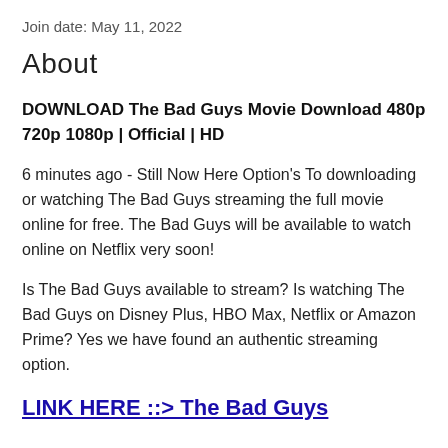Join date: May 11, 2022
About
DOWNLOAD The Bad Guys Movie Download 480p 720p 1080p | Official | HD
6 minutes ago - Still Now Here Option's To downloading or watching The Bad Guys streaming the full movie online for free. The Bad Guys will be available to watch online on Netflix very soon!
Is The Bad Guys available to stream? Is watching The Bad Guys on Disney Plus, HBO Max, Netflix or Amazon Prime? Yes we have found an authentic streaming option.
LINK HERE ::> The Bad Guys